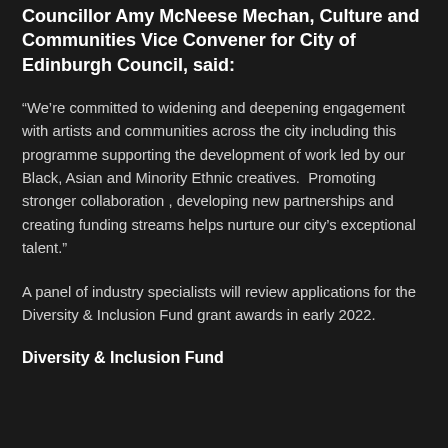Councillor Amy McNeese Mechan, Culture and Communities Vice Convener for City of Edinburgh Council, said:
“We’re committed to widening and deepening engagement with artists and communities across the city including this programme supporting the development of work led by our Black, Asian and Minority Ethnic creatives.  Promoting stronger collaboration , developing new partnerships and creating funding streams helps nurture our city’s exceptional talent.”
A panel of industry specialists will review applications for the Diversity & Inclusion Fund grant awards in early 2022.
Diversity & Inclusion Fund